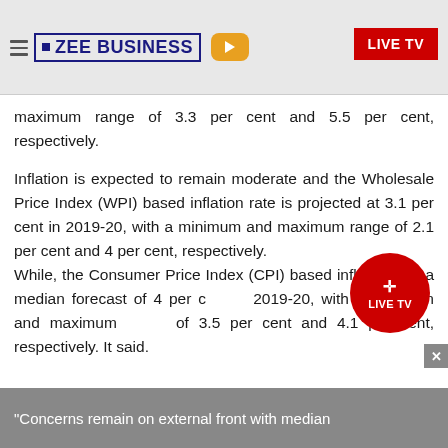ZEE BUSINESS | LIVE TV
maximum range of 3.3 per cent and 5.5 per cent, respectively.
Inflation is expected to remain moderate and the Wholesale Price Index (WPI) based inflation rate is projected at 3.1 per cent in 2019-20, with a minimum and maximum range of 2.1 per cent and 4 per cent, respectively.
While, the Consumer Price Index (CPI) based inflation has a median forecast of 4 per cent in 2019-20, with a minimum and maximum of 3.5 per cent and 4.1 per cent, respectively. It said.
"Concerns remain on external front with median